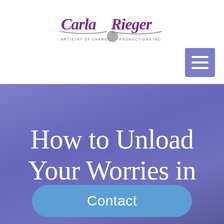[Figure (logo): Carla Rieger Artistry of Change Productions Inc. logo with stylized cursive text and a sphere/globe icon in the center]
[Figure (screenshot): Purple/blue hamburger menu icon button (three horizontal white lines on purple background square)]
How to Unload Your Worries in
Contact